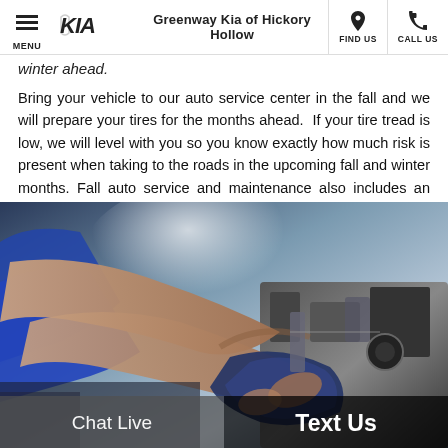Greenway Kia of Hickory Hollow | MENU | FIND US | CALL US
winter ahead.
Bring your vehicle to our auto service center in the fall and we will prepare your tires for the months ahead.  If your tire tread is low, we will level with you so you know exactly how much risk is present when taking to the roads in the upcoming fall and winter months. Fall auto service and maintenance also includes an analysis of your vehicle's heating system, ensuring it will keep you and your vehicle's passengers warm regardless of how cold it gets outside.
[Figure (photo): A mechanic's hands working on a car engine, reaching into the engine bay with a cloth, in a blue uniform, workshop setting.]
Chat Live | Text Us